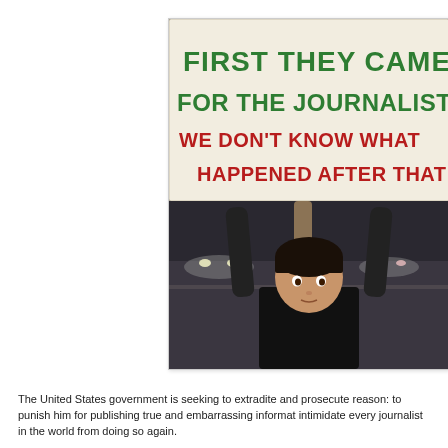[Figure (photo): A child holding up a large protest sign that reads 'FIRST THEY CAME FOR THE JOURNALISTS WE DON'T KNOW WHAT HAPPENED AFTER THAT' — top two lines in green marker, bottom two lines in red marker. Night street scene with cars in background.]
The United States government is seeking to extradite and prosecute reason: to punish him for publishing true and embarrassing informat intimidate every journalist in the world from doing so again.